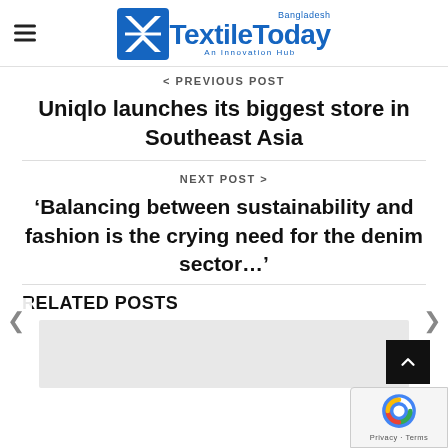TextileToday Bangladesh - An Innovation Hub
< PREVIOUS POST
Uniqlo launches its biggest store in Southeast Asia
NEXT POST >
'Balancing between sustainability and fashion is the crying need for the denim sector...'
RELATED POSTS
[Figure (photo): Related post thumbnail image placeholder (grey box)]